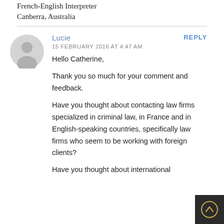Translator
French-English Interpreter
Canberra, Australia
Lucie
15 FEBRUARY 2016 AT 4:47 AM
REPLY
Hello Catherine,

Thank you so much for your comment and feedback.

Have you thought about contacting law firms specialized in criminal law, in France and in English-speaking countries, specifically law firms who seem to be working with foreign clients?

Have you thought about international